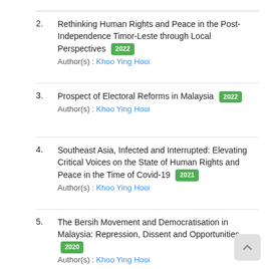2. Rethinking Human Rights and Peace in the Post-Independence Timor-Leste through Local Perspectives 2022 Author(s) : Khoo Ying Hooi
3. Prospect of Electoral Reforms in Malaysia 2022 Author(s) : Khoo Ying Hooi
4. Southeast Asia, Infected and Interrupted: Elevating Critical Voices on the State of Human Rights and Peace in the Time of Covid-19 2021 Author(s) : Khoo Ying Hooi
5. The Bersih Movement and Democratisation in Malaysia: Repression, Dissent and Opportunities. 2020 Author(s) : Khoo Ying Hooi